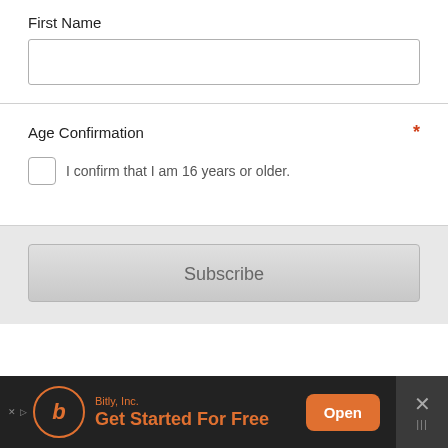First Name
[Figure (screenshot): Empty text input field for First Name]
Age Confirmation
I confirm that I am 16 years or older.
Subscribe
[Figure (screenshot): Advertisement bar: Bitly, Inc. - Get Started For Free - Open button]